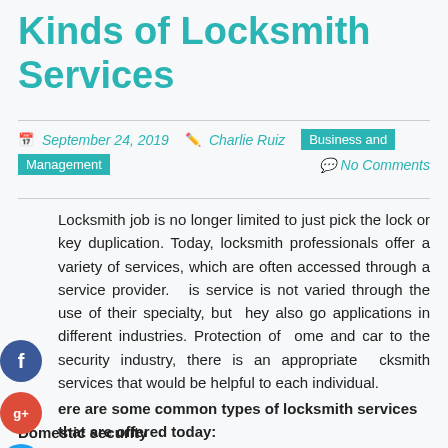Kinds of Locksmith Services
September 24, 2019  Charlie Ruiz  Business and Management  No Comments
Locksmith job is no longer limited to just pick the lock or key duplication. Today, locksmith professionals offer a variety of services, which are often accessed through a service provider. This service is not varied through the use of their specialty, but they also go applications in different industries. Protection of home and car to the security industry, there is an appropriate locksmith services that would be helpful to each individual.
There are some common types of locksmith services that are offered today:
Domestic security